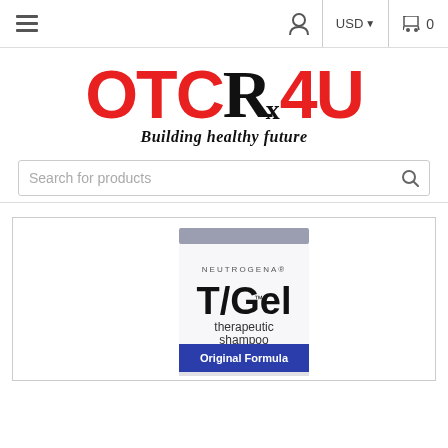≡  👤  USD▼  🛒 0
[Figure (logo): OTCRx4U logo in red and black with tagline 'Building healthy future']
Search for products
[Figure (photo): Neutrogena T/Gel therapeutic shampoo Original Formula product box]